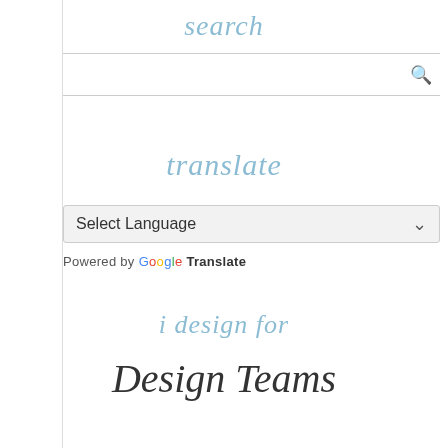search
translate
Select Language
Powered by Google Translate
i design for
Design Teams